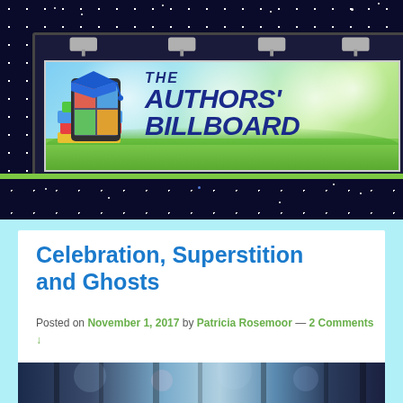[Figure (illustration): The Authors' Billboard website header banner with spotlights, colorful books/tablet logo, and blue text on light blue/green gradient background, set against dark starfield]
Celebration, Superstition and Ghosts
Posted on November 1, 2017 by Patricia Rosemoor — 2 Comments ↓
[Figure (photo): Bottom portion of a dark atmospheric photo with bokeh light effects, trees or curtains visible]